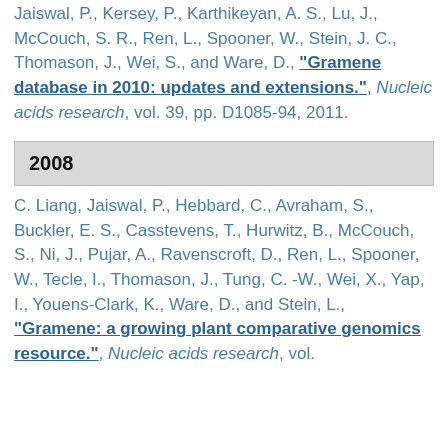Jaiswal, P., Kersey, P., Karthikeyan, A. S., Lu, J., McCouch, S. R., Ren, L., Spooner, W., Stein, J. C., Thomason, J., Wei, S., and Ware, D., "Gramene database in 2010: updates and extensions.", Nucleic acids research, vol. 39, pp. D1085-94, 2011.
2008
C. Liang, Jaiswal, P., Hebbard, C., Avraham, S., Buckler, E. S., Casstevens, T., Hurwitz, B., McCouch, S., Ni, J., Pujar, A., Ravenscroft, D., Ren, L., Spooner, W., Tecle, I., Thomason, J., Tung, C. -W., Wei, X., Yap, I., Youens-Clark, K., Ware, D., and Stein, L., "Gramene: a growing plant comparative genomics resource.", Nucleic acids research, vol. 36, pp. D847-53, 2008.